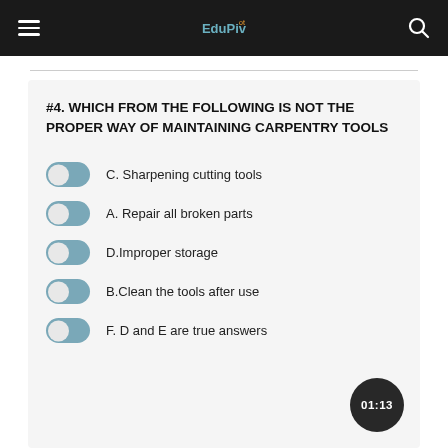EduPivot (logo/nav bar)
#4. WHICH FROM THE FOLLOWING IS NOT THE PROPER WAY OF MAINTAINING CARPENTRY TOOLS
C. Sharpening cutting tools
A. Repair all broken parts
D.Improper storage
B.Clean the tools after use
F. D and E are true answers